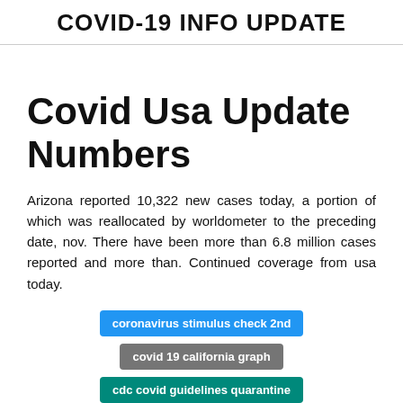COVID-19 INFO UPDATE
Covid Usa Update Numbers
Arizona reported 10,322 new cases today, a portion of which was reallocated by worldometer to the preceding date, nov. There have been more than 6.8 million cases reported and more than. Continued coverage from usa today.
coronavirus stimulus check 2nd
covid 19 california graph
cdc covid guidelines quarantine
coronavirus sintomas leves espanol
coronavirus oggi francia dati
covid 19 bc update schools